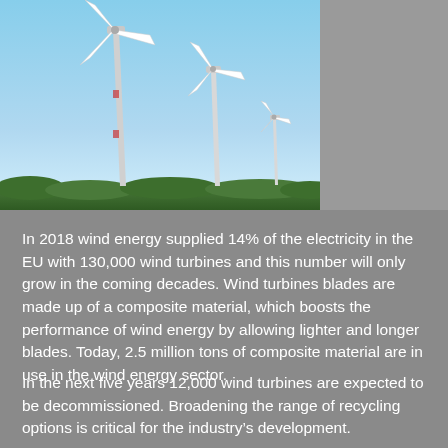[Figure (photo): Photograph of wind turbines against a clear blue sky, with green vegetation visible at the base. Two large turbines dominate the left and center, with a smaller turbine in the background on the right.]
In 2018 wind energy supplied 14% of the electricity in the EU with 130,000 wind turbines and this number will only grow in the coming decades. Wind turbines blades are made up of a composite material, which boosts the performance of wind energy by allowing lighter and longer blades. Today, 2.5 million tons of composite material are in use in the wind energy sector.
In the next five years 12,000 wind turbines are expected to be decommissioned. Broadening the range of recycling options is critical for the industry's development.
WindEurope CEO, Giles Dickson, said: "Wind energy is an increasingly important part of Europe's energy mix. The first generation of wind turbines are now starting to come to the end of